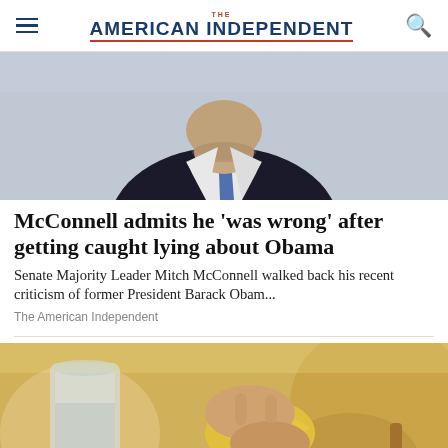THE AMERICAN INDEPENDENT
[Figure (photo): Photo of a man in a dark suit with a blue and red striped tie, cropped to show chest and chin area, against a light gray background]
McConnell admits he 'was wrong' after getting caught lying about Obama
Senate Majority Leader Mitch McConnell walked back his recent criticism of former President Barack Obam...
The American Independent
[Figure (photo): Photo of hands squeezing a lemon, with a glass of water and lemon slices visible, warm yellow and golden tones]